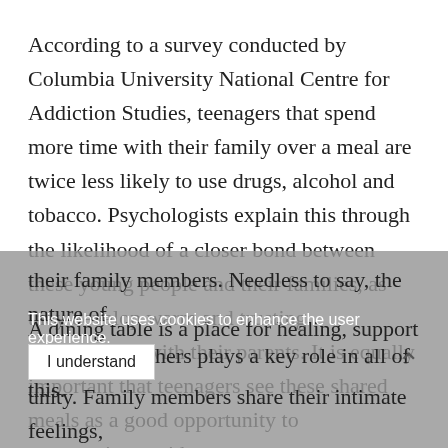According to a survey conducted by Columbia University National Centre for Addiction Studies, teenagers that spend more time with their family over a meal are twice less likely to use drugs, alcohol and tobacco. Psychologists explain this through the likelihood of a closer bond between these young people and their families, as they develop warm and trusting relationships with their parents. It is equally important that teenagers see these shared meals as a good opportunity to communicate with their family members. Needless to say, the nature of these get togethers plays a key role in all of this.
This website uses cookies to enhance the user experience.
A dining table is a place for healing, support and unity. Family members share their intimate feelings,